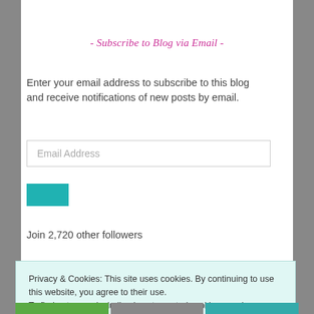- Subscribe to Blog via Email -
Enter your email address to subscribe to this blog and receive notifications of new posts by email.
Email Address
SUBSCRIBE
Join 2,720 other followers
Privacy & Cookies: This site uses cookies. By continuing to use this website, you agree to their use. To find out more, including how to control cookies, see here: Cookie Policy
Close and accept